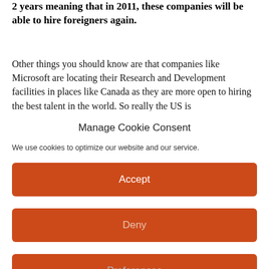2 years meaning that in 2011, these companies will be able to hire foreigners again.
Other things you should know are that companies like Microsoft are locating their Research and Development facilities in places like Canada as they are more open to hiring the best talent in the world. So really the US is...
Manage Cookie Consent
We use cookies to optimize our website and our service.
Accept
Deny
Preferences